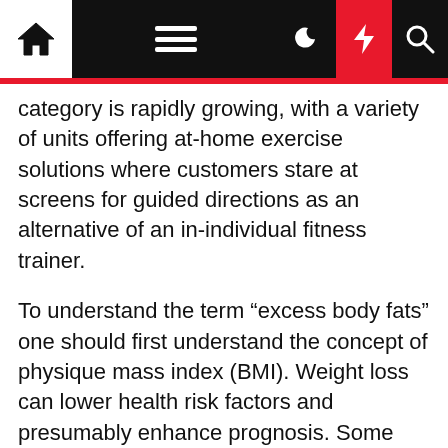Navigation bar with home, menu, dark mode, lightning bolt, and search icons
category is rapidly growing, with a variety of units offering at-home exercise solutions where customers stare at screens for guided directions as an alternative of an in-individual fitness trainer.
To understand the term “excess body fats” one should first understand the concept of physique mass index (BMI). Weight loss can lower health risk factors and presumably enhance prognosis. Some folks find different diets work well for them. Cardio exercise mostly uses massive muscle teams. If you happen to’re keen to danger this addictive deal with, Merritt guarantees the flavor is to die for.â€Š Get the Worst Chocolate Chip Cookies recipe from Sugar Spun Run.
And they additionally make an ideal addition to both